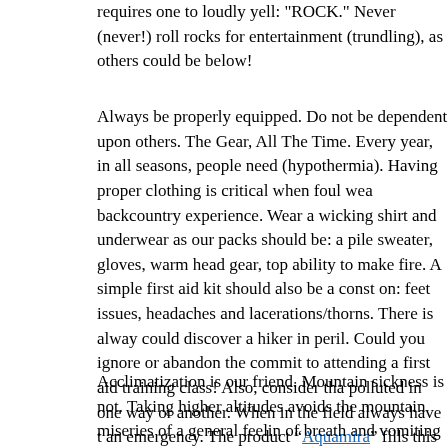requires one to loudly yell: "ROCK." Never (never!) roll rocks for entertainment (trundling), as others could be below!
Always be properly equipped. Do not be dependent upon others. The Gear, All The Time. Every year, in all seasons, people need (hypothermia). Having proper clothing is critical when foul weather backcountry experience. Wear a wicking shirt and underwear as our packs should be: a pile sweater, gloves, warm head gear, top ability to make fire. A simple first aid kit should also be a constant on: feet issues, headaches and lacerations/thorns. There is always could discover a hiker in peril. Could you ignore or abandon the commit to attending a first aid training class! Also, consider that polluted in one way or another. When in the field always have an emergency. The product “Aquamira” fills this critical need by The “Ten Essentials” (S.O.S. #5 and #39) absolutely can make t
Acclimatization is our friend. Mountain sickness is not. Taking higher altitudes avoids the mountain miseries of a general feeling of breath and vomiting that can result from rapid ascents above